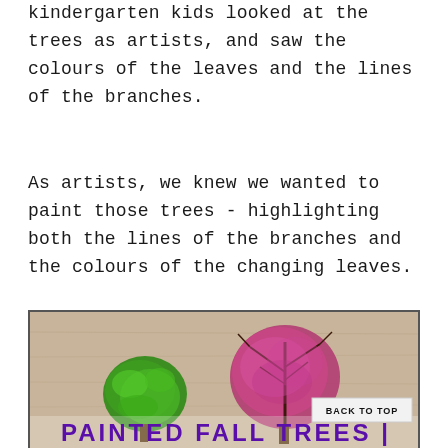kindergarten kids looked at the trees as artists, and saw the colours of the leaves and the lines of the branches.
As artists, we knew we wanted to paint those trees - highlighting both the lines of the branches and the colours of the changing leaves.
[Figure (photo): Children's painted fall trees artwork showing a green tree on the left and a pink/purple tree in the center, with the text 'PAINTED FALL TREES' in large purple letters at the bottom. A 'BACK TO TOP' button appears in the lower right.]